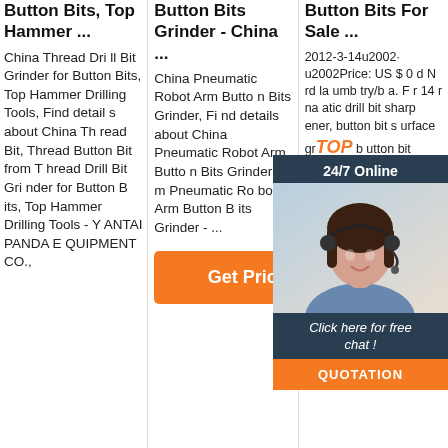Button Bits, Top Hammer ...
Button Bits Grinder - China ...
Button Bits For Sale ...
China Thread Drill Bit Grinder for Button Bits, Top Hammer Drilling Tools, Find details about China Thread Bit, Thread Button Bit from Thread Drill Bit Grinder for Button Bits, Top Hammer Drilling Tools - YANTAI PANDA EQUIPMENT CO.,
China Pneumatic Robot Arm Button Bits Grinder, Find details about China Pneumatic Robot Arm, Button Bits Grinder from Pneumatic Robot Arm Button Bits Grinder - ...
2012-3-14u2002· u2002Price: US $ 0 d N rd la umb try/b a. F r 14 r na atic drill bit sharpener, button bit surface grinder b utton bit processing machine, butt
[Figure (other): Chat agent overlay with dark blue background showing '24/7 Online', a woman with headset, 'Click here for free chat!' text, and an orange QUOTATION button]
Get Price